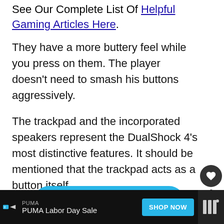See Our Complete List Of Helpful Gaming Articles Here.
They have a more buttery feel while you press on them. The player doesn't need to smash his buttons aggressively.
The trackpad and the incorporated speakers represent the DualShock 4's most distinctive features. It should be mentioned that the trackpad acts as a button itself.
[Figure (other): Blue rounded button with text 'View On Amazon' and a heart/share sidebar with count 6]
[Figure (other): Advertisement bar: PUMA Labor Day Sale with Shop Now button]